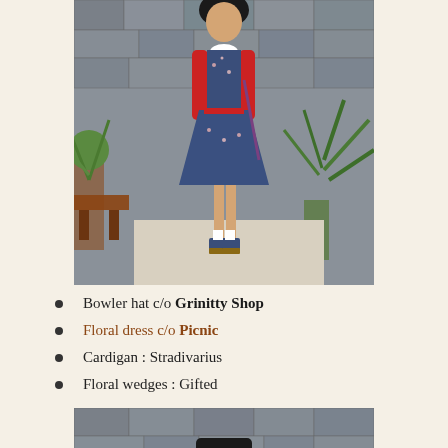[Figure (photo): Young woman wearing a floral blue dress with white collar, red cardigan, red belt, and floral wedge shoes, standing in front of a stone wall with plants]
Bowler hat c/o Grinitty Shop
Floral dress c/o Picnic
Cardigan : Stradivarius
Floral wedges : Gifted
[Figure (photo): Close-up of person wearing a black bowler hat, in front of a stone wall]